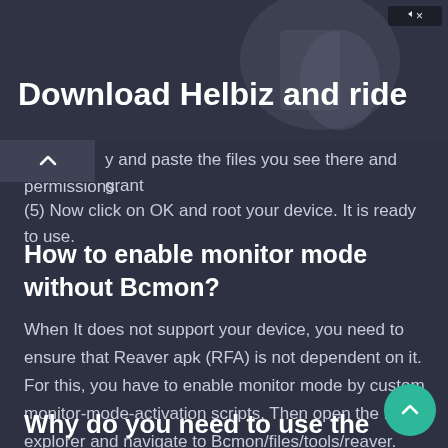[Figure (screenshot): Advertisement banner for Helbiz app with text 'Download Helbiz and ride' and a person with a camera in background. Ad close/info icons in top right.]
y and paste the files you see there and grant permissions.
(5) Now click on OK and root your device. It is ready to use.
How to enable monitor mode without Bcmon?
When It does not support your device, you need to ensure that Reaver apk (RFA) is not dependent on it. For this, you have to enable monitor mode by custom monitor-mode-activation scripts. Then open the root explorer and navigate to Bcmon/files/tools/reaver. Now press it and select permissions and check the execute boxes. Click OK. Now go to tools and enable it and select execute rights, then click OK.
Why do you need to use the Bcmon apk